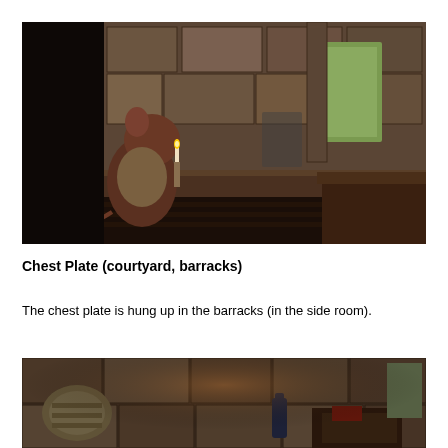[Figure (photo): Screenshot from a video game showing a small armored mouse character holding a candle, standing in a dark stone medieval barracks room with large stone walls and wooden beams. A window in the background lets in some greenish light from outside.]
Chest Plate (courtyard, barracks)
The chest plate is hung up in the barracks (in the side room).
[Figure (photo): Screenshot from a video game showing a close-up view of stone wall barracks interior with armor pieces, wooden furniture, and a dark ambient lighting with warm tones.]